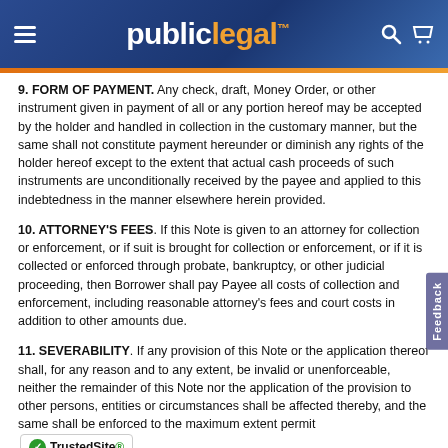publiclegal
9. FORM OF PAYMENT. Any check, draft, Money Order, or other instrument given in payment of all or any portion hereof may be accepted by the holder and handled in collection in the customary manner, but the same shall not constitute payment hereunder or diminish any rights of the holder hereof except to the extent that actual cash proceeds of such instruments are unconditionally received by the payee and applied to this indebtedness in the manner elsewhere herein provided.
10. ATTORNEY'S FEES. If this Note is given to an attorney for collection or enforcement, or if suit is brought for collection or enforcement, or if it is collected or enforced through probate, bankruptcy, or other judicial proceeding, then Borrower shall pay Payee all costs of collection and enforcement, including reasonable attorney's fees and court costs in addition to other amounts due.
11. SEVERABILITY. If any provision of this Note or the application thereof shall, for any reason and to any extent, be invalid or unenforceable, neither the remainder of this Note nor the application of the provision to other persons, entities or circumstances shall be affected thereby, and the same shall be enforced to the maximum extent permitted by law.